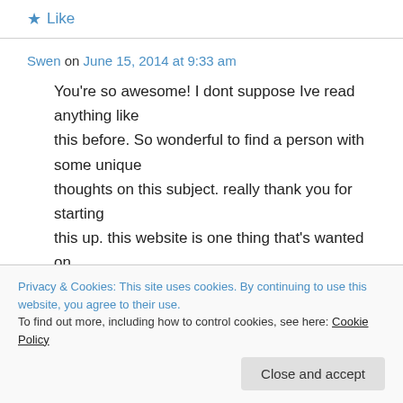★ Like
Swen on June 15, 2014 at 9:33 am
You're so awesome! I dont suppose Ive read anything like this before. So wonderful to find a person with some unique thoughts on this subject. really thank you for starting this up. this website is one thing that's wanted on
Privacy & Cookies: This site uses cookies. By continuing to use this website, you agree to their use. To find out more, including how to control cookies, see here: Cookie Policy